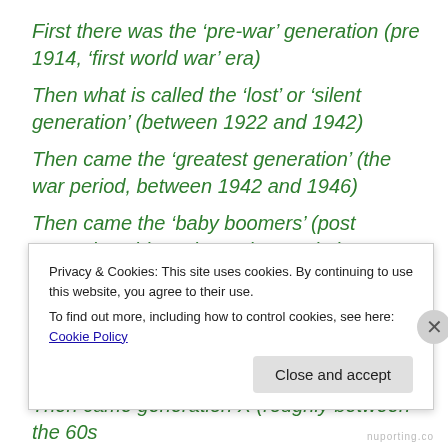First there was the ‘pre-war’ generation (pre 1914, ‘first world war’ era)
Then what is called the ‘lost’ or ‘silent generation’ (between 1922 and 1942)
Then came the ‘greatest generation’ (the war period, between 1942 and 1946)
Then came the ‘baby boomers’ (post second world war boom in population; 1946 onwards)
Then supposedly the ‘generation jones’ or ‘joneses’ (kids growing up to adulthood around 1960’s)
Then came generation X (roughly between the 60s...
Privacy & Cookies: This site uses cookies. By continuing to use this website, you agree to their use.
To find out more, including how to control cookies, see here: Cookie Policy
Close and accept